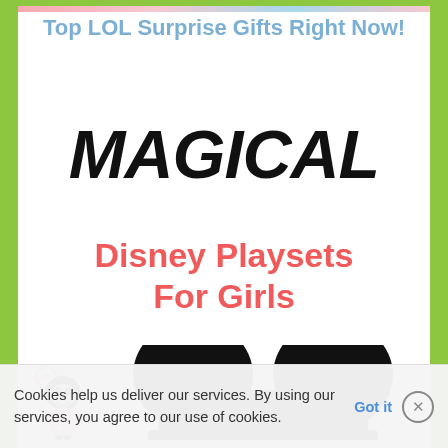Top LOL Surprise Gifts Right Now!
[Figure (illustration): Large stylized hand-lettered text 'MAGICAL' in black brush font, above Disney Playsets For Girls in red bold text, with Mickey Mouse ear hat silhouette and Minnie Mouse figurine at the bottom]
Cookies help us deliver our services. By using our services, you agree to our use of cookies.
Got it